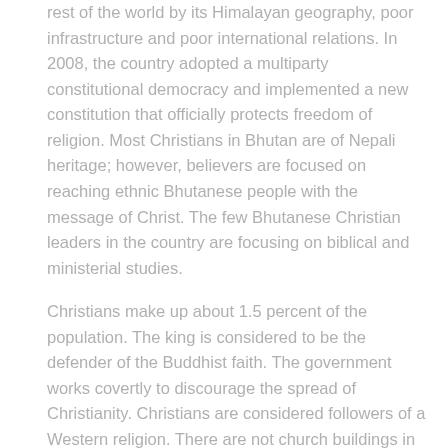rest of the world by its Himalayan geography, poor infrastructure and poor international relations. In 2008, the country adopted a multiparty constitutional democracy and implemented a new constitution that officially protects freedom of religion. Most Christians in Bhutan are of Nepali heritage; however, believers are focused on reaching ethnic Bhutanese people with the message of Christ. The few Bhutanese Christian leaders in the country are focusing on biblical and ministerial studies.
Christians make up about 1.5 percent of the population. The king is considered to be the defender of the Buddhist faith. The government works covertly to discourage the spread of Christianity. Christians are considered followers of a Western religion. There are not church buildings in Bhutan.  Christians often lose their jobs, are passed over for jobs or are not able to find jobs because of their faith. Many Christians must practice their faith in secret – burying their dead at night or deep in the